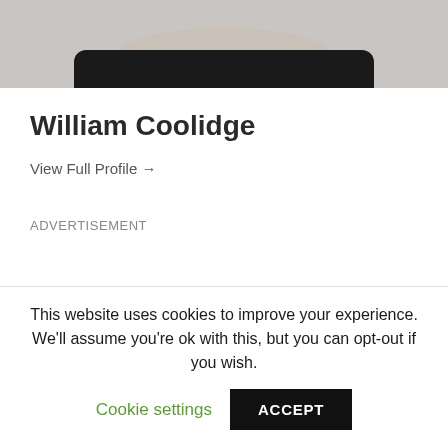[Figure (photo): Cropped photo showing lower face/chin and neck of a person wearing a dark shirt, against a gray background]
William Coolidge
View Full Profile →
ADVERTISEMENT
This website uses cookies to improve your experience. We'll assume you're ok with this, but you can opt-out if you wish.
Cookie settings
ACCEPT